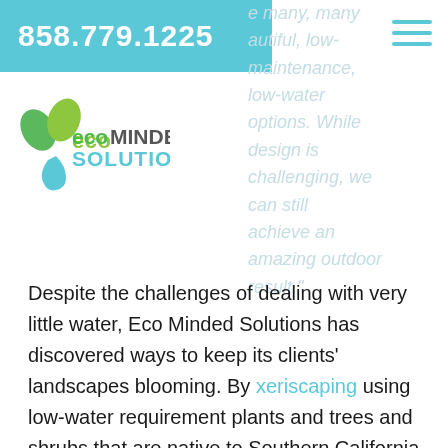858.779.1225
[Figure (logo): Eco Minded Solutions logo with green leaves and blue water drop, company name in green and blue text]
e many, many beautiful, low-maintenance, low-water options. While design is challenging, we can still achieve an amazing outdoor result.
Despite the challenges of dealing with very little water, Eco Minded Solutions has discovered ways to keep its clients' landscapes blooming. By xeriscaping using low-water requirement plants and trees and shrubs that are native to Southern California, Eco Minded Solutions is still creating unique landscaping treatments for yards.